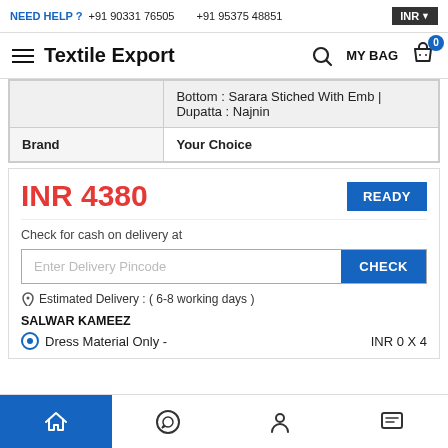NEED HELP ? +91 90331 76505   +91 95375 48851   INR
Textile Export  MY BAG 0
|  | Bottom : Sarara Stiched With Emb | Dupatta : Najnin |
| Brand | Your Choice |
INR 4380
READY
Check for cash on delivery at
Enter Delivery Pincode
CHECK
✈ Estimated Delivery : ( 6-8 working days )
SALWAR KAMEEZ
Dress Material Only -   INR 0 X 4